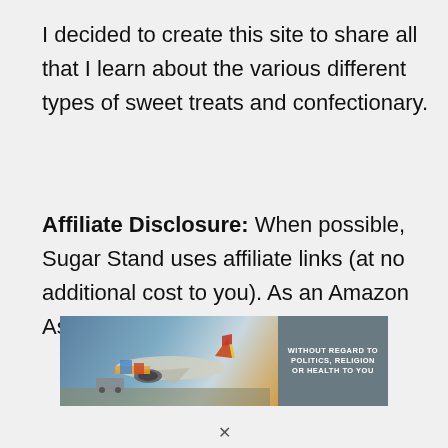I decided to create this site to share all that I learn about the various different types of sweet treats and confectionary.
Affiliate Disclosure: When possible, Sugar Stand uses affiliate links (at no additional cost to you). As an Amazon Associate, I earn from qualifying
[Figure (photo): Advertisement banner showing an airplane being loaded with cargo on a tarmac, with a grey badge on the right reading 'WITHOUT REGARD TO POLITICS, RELIGION OR HEALTH TO YOU']